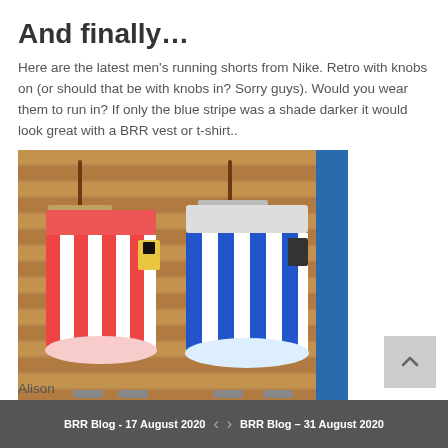And finally…
Here are the latest men's running shorts from Nike. Retro with knobs on (or should that be with knobs in? Sorry guys). Would you wear them to run in? If only the blue stripe was a shade darker it would look great with a BRR vest or t-shirt..
[Figure (photo): Two pairs of striped running shorts hanging on a slatted wooden wall display. Left pair has red and white vertical stripes; right pair has blue and white vertical stripes. Both have tags attached.]
Happy running
Alison
BRR Blog - 17 August 2020  <  >  BRR Blog – 31 August 2020